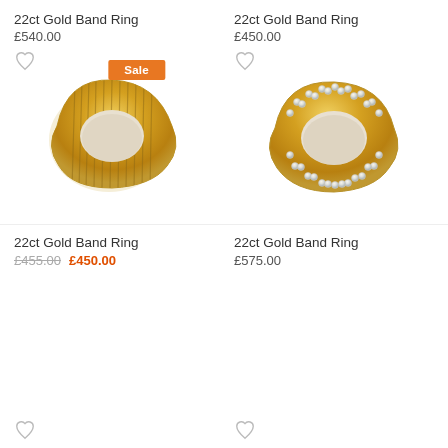22ct Gold Band Ring
£540.00
[Figure (photo): 22ct gold band ring with ribbed/fluted texture, yellow gold, viewed at angle. Sale badge overlay.]
22ct Gold Band Ring
£455.00 £450.00
22ct Gold Band Ring
£450.00
[Figure (photo): 22ct gold band ring with diamond-set rows on edges and polished yellow gold centre band, viewed at angle.]
22ct Gold Band Ring
£575.00